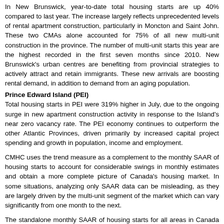In New Brunswick, year-to-date total housing starts are up 40% compared to last year. The increase largely reflects unprecedented levels of rental apartment construction, particularly in Moncton and Saint John. These two CMAs alone accounted for 75% of all new multi-unit construction in the province. The number of multi-unit starts this year are the highest recorded in the first seven months since 2010. New Brunswick's urban centres are benefiting from provincial strategies to actively attract and retain immigrants. These new arrivals are boosting rental demand, in addition to demand from an aging population.
Prince Edward Island (PEI)
Total housing starts in PEI were 319% higher in July, due to the ongoing surge in new apartment construction activity in response to the Island's near zero vacancy rate. The PEI economy continues to outperform the other Atlantic Provinces, driven primarily by increased capital project spending and growth in population, income and employment.
CMHC uses the trend measure as a complement to the monthly SAAR of housing starts to account for considerable swings in monthly estimates and obtain a more complete picture of Canada's housing market. In some situations, analyzing only SAAR data can be misleading, as they are largely driven by the multi-unit segment of the market which can vary significantly from one month to the next.
The standalone monthly SAAR of housing starts for all areas in Canada was 222,013 units in July, down 9.6% from 245,455 units in June. The SAAR of urban starts decreased by 10.4% in July to 209,122 units. Multiple urban starts decreased by 12% to 162,722 units in July while single-detached urban starts decreased by 4.6% to 46,400 units.
Rural starts were estimated at a seasonally adjusted annual rate of 12,891